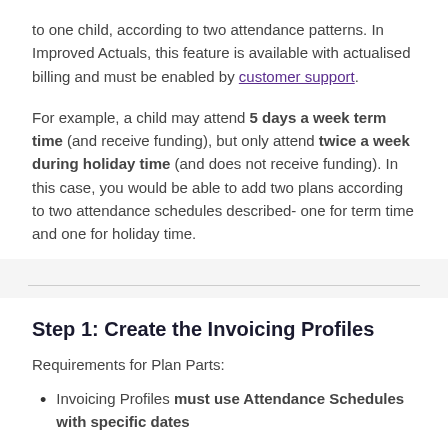to one child, according to two attendance patterns. In Improved Actuals, this feature is available with actualised billing and must be enabled by customer support.
For example, a child may attend 5 days a week term time (and receive funding), but only attend twice a week during holiday time (and does not receive funding). In this case, you would be able to add two plans according to two attendance schedules described- one for term time and one for holiday time.
Step 1: Create the Invoicing Profiles
Requirements for Plan Parts:
Invoicing Profiles must use Attendance Schedules with specific dates